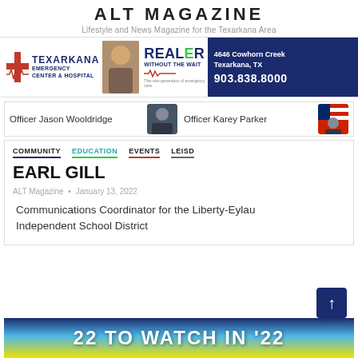ALT MAGAZINE
Lifestyle and News Magazine for the Texarkana Area
[Figure (advertisement): Texarkana Emergency Center & Hospital ad — REALER WITHOUT THE WAIT — 4646 Cowhorn Creek Texarkana, TX — 903.838.8000]
Officer Jason Wooldridge   Officer Karey Parker
COMMUNITY  EDUCATION  EVENTS  LEISD
EARL GILL
ALT Magazine • January 13, 2022
Communications Coordinator for the Liberty-Eylau Independent School District
[Figure (advertisement): 22 TO WATCH IN '22 — banner with blue/yellow gradient background]